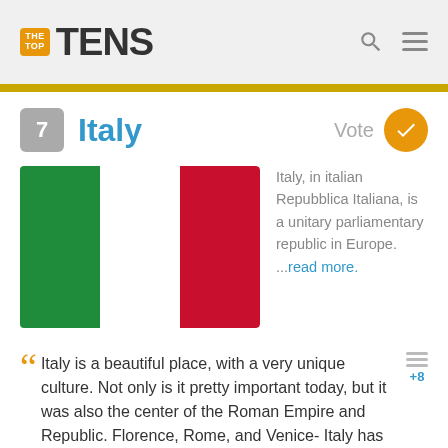THE TOP TENS
7  Italy
[Figure (illustration): Italian flag with three vertical stripes: green, white, and red]
Italy, in italian Repubblica Italiana, is a unitary parliamentary republic in Europe. ...read more.
"Italy is a beautiful place, with a very unique culture. Not only is it pretty important today, but it was also the center of the Roman Empire and Republic. Florence, Rome, and Venice- Italy has some of the greatest